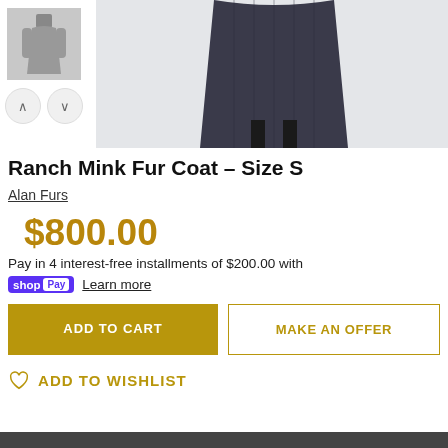[Figure (photo): Thumbnail image of a gray long-sleeve dress/coat and navigation arrows for product gallery]
[Figure (photo): Main product image of a dark ranch mink fur coat on a light background]
Ranch Mink Fur Coat - Size S
Alan Furs
$800.00
Pay in 4 interest-free installments of $200.00 with
shop Pay   Learn more
ADD TO CART
MAKE AN OFFER
ADD TO WISHLIST